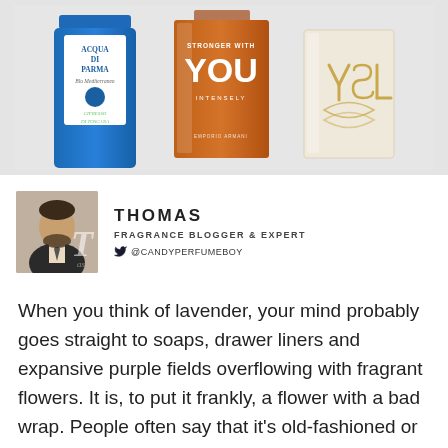[Figure (photo): Three perfume bottles: Acqua di Parma (blue), Stronger With You Intensely by Emporio Armani (amber/orange), and YSL (clear with gold logo), photographed on a light grey background from above.]
[Figure (photo): Headshot photo of Thomas, a young man with beard wearing a suit, with a large italic 'T' overlay. Beside it: name THOMAS, title FRAGRANCE BLOGGER & EXPERT, and Twitter handle @CANDYPERFUMEBOY.]
When you think of lavender, your mind probably goes straight to soaps, drawer liners and expansive purple fields overflowing with fragrant flowers. It is, to put it frankly, a flower with a bad wrap. People often say that it's old-fashioned or prim – that it's fousty or medicinal, but those things are far from the truth. Lavender is a